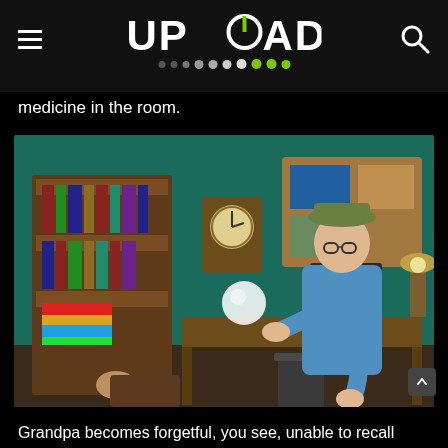UPLOAD
medicine in the room.
[Figure (screenshot): Animated 3D game scene showing a cartoon grandfather character in a green-walled room with bookshelves, a cuckered clock, a desk with a computer, and a trash can. A floating glowing orb is visible near the grandfather.]
Grandpa becomes forgetful, you see, unable to recall